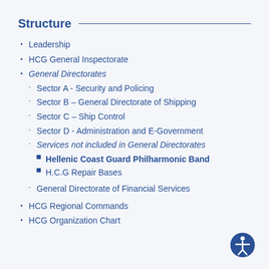Structure
Leadership
HCG General Inspectorate
General Directorates
Sector A - Security and Policing
Sector B – General Directorate of Shipping
Sector C – Ship Control
Sector D - Administration and E-Government
Services not included in General Directorates
Hellenic Coast Guard Philharmonic Band
H.C.G Repair Bases
General Directorate of Financial Services
HCG Regional Commands
HCG Organization Chart